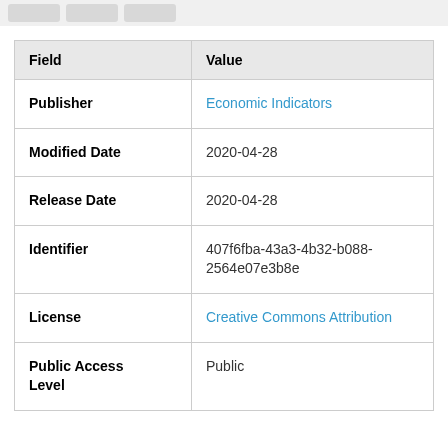| Field | Value |
| --- | --- |
| Publisher | Economic Indicators |
| Modified Date | 2020-04-28 |
| Release Date | 2020-04-28 |
| Identifier | 407f6fba-43a3-4b32-b088-2564e07e3b8e |
| License | Creative Commons Attribution |
| Public Access Level | Public |